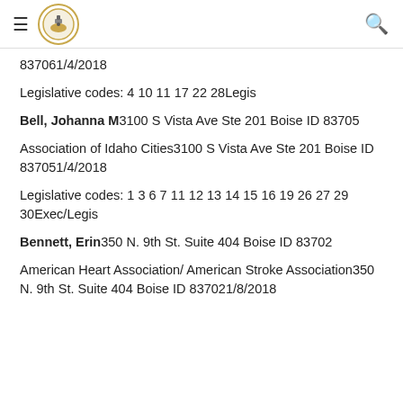Navigation header with hamburger menu, logo, and search icon
837061/4/2018
Legislative codes: 4 10 11 17 22 28Legis
Bell, Johanna M3100 S Vista Ave Ste 201 Boise ID 83705
Association of Idaho Cities3100 S Vista Ave Ste 201 Boise ID 837051/4/2018
Legislative codes: 1 3 6 7 11 12 13 14 15 16 19 26 27 29 30Exec/Legis
Bennett, Erin350 N. 9th St. Suite 404 Boise ID 83702
American Heart Association/ American Stroke Association350 N. 9th St. Suite 404 Boise ID 837021/8/2018